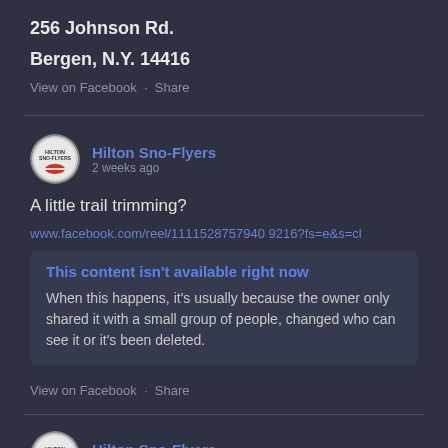256 Johnson Rd.
Bergen, N.Y. 14416
View on Facebook · Share
Hilton Sno-Flyers
2 weeks ago
A little trail trimming?
www.facebook.com/reel/1111528757940 9216?fs=e&s=cl
This content isn't available right now
When this happens, it's usually because the owner only shared it with a small group of people, changed who can see it or it's been deleted.
View on Facebook · Share
Hilton Sno-Flyers
2 weeks ago